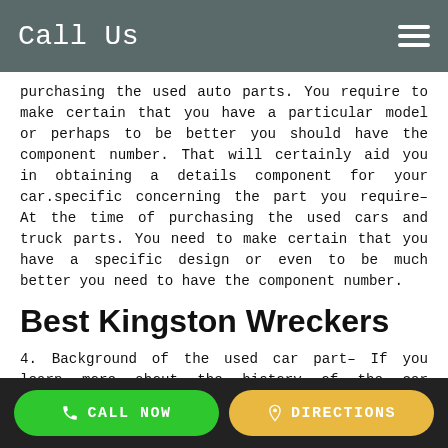Call Us
purchasing the used auto parts. You require to make certain that you have a particular model or perhaps to be better you should have the component number. That will certainly aid you in obtaining a details component for your car.specific concerning the part you require– At the time of purchasing the used cars and truck parts. You need to make certain that you have a specific design or even to be much better you need to have the component number.
Best Kingston Wreckers
4. Background of the used car part– If you learn more about the history of the car component, after that it becomes advantageous for you. The reason behind it is that you do not discover any type of forgery. Make sure that the store also offers some guarantee or warranty on the product you purchaseBackground of the used vehicle part– If you get to
CALL NOW   DIRECTIONS